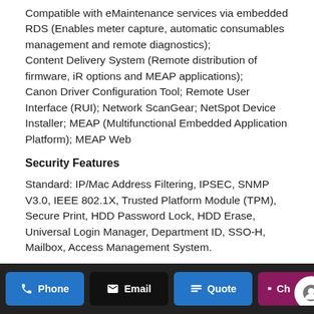Compatible with eMaintenance services via embedded RDS (Enables meter capture, automatic consumables management and remote diagnostics); Content Delivery System (Remote distribution of firmware, iR options and MEAP applications); Canon Driver Configuration Tool; Remote User Interface (RUI); Network ScanGear; NetSpot Device Installer; MEAP (Multifunctional Embedded Application Platform); MEAP Web
Security Features
Standard: IP/Mac Address Filtering, IPSEC, SNMP V3.0, IEEE 802.1X, Trusted Platform Module (TPM), Secure Print, HDD Password Lock, HDD Erase, Universal Login Manager, Department ID, SSO-H, Mailbox, Access Management System.
Phone | Email | Quote | Chat